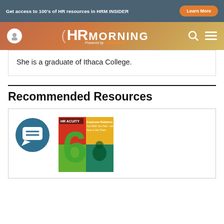Get access to 100's of HR resources in HRM INSIDER | Learn More
[Figure (logo): HR Morning logo powered by Successfuel, with navigation icons (user, search, hamburger menu)]
She is a graduate of Ithaca College.
Recommended Resources
[Figure (infographic): Resource card showing a chat icon and a cover image for HR Acuity resource titled '6 Employee Relations Insights You Wish You Had - and How to Get Them']